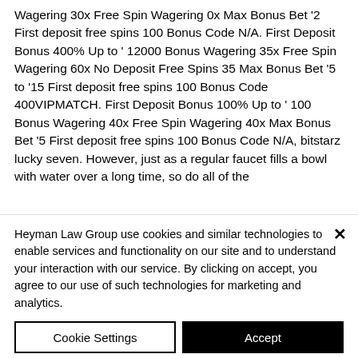Wagering 30x Free Spin Wagering 0x Max Bonus Bet '2 First deposit free spins 100 Bonus Code N/A. First Deposit Bonus 400% Up to ' 12000 Bonus Wagering 35x Free Spin Wagering 60x No Deposit Free Spins 35 Max Bonus Bet '5 to '15 First deposit free spins 100 Bonus Code 400VIPMATCH. First Deposit Bonus 100% Up to ' 100 Bonus Wagering 40x Free Spin Wagering 40x Max Bonus Bet '5 First deposit free spins 100 Bonus Code N/A, bitstarz lucky seven. However, just as a regular faucet fills a bowl with water over a long time, so do all of the
Heyman Law Group use cookies and similar technologies to enable services and functionality on our site and to understand your interaction with our service. By clicking on accept, you agree to our use of such technologies for marketing and analytics.
Cookie Settings
Accept